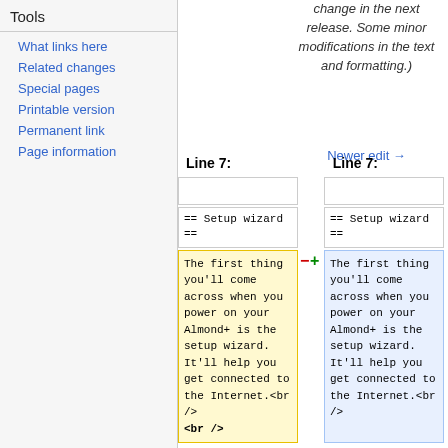Tools
What links here
Related changes
Special pages
Printable version
Permanent link
Page information
change in the next release. Some minor modifications in the text and formatting.)
Newer edit →
| Line 7: | Line 7: |
| --- | --- |
|  |  |
| == Setup wizard == | == Setup wizard == |
| The first thing you'll come across when you power on your Almond+ is the setup wizard. It'll help you get connected to the Internet.<br />
<br /> | The first thing you'll come across when you power on your Almond+ is the setup wizard. It'll help you get connected to the Internet.<br /> |